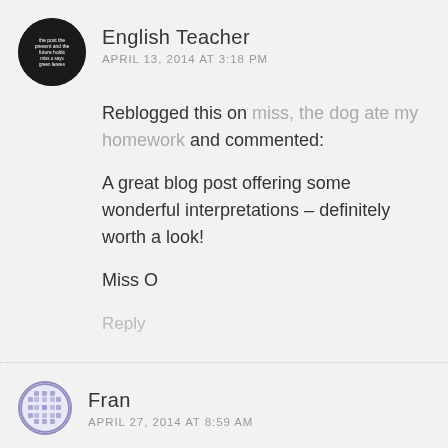[Figure (illustration): Dark circular avatar with small white text, representing English Teacher commenter profile image]
English Teacher
APRIL 13, 2014 AT 3:18 PM
Reblogged this on miss, the dog ate my homework and commented:
A great blog post offering some wonderful interpretations – definitely worth a look!
Miss O
Reply
[Figure (illustration): Light purple/grey grid pattern circular avatar representing Fran commenter profile image]
Fran
APRIL 27, 2014 AT 8:59 AM
A superb blog which I will share with some of